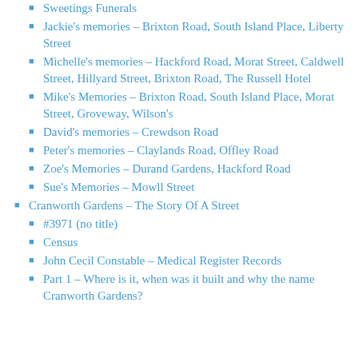Sweetings Funerals
Jackie's memories – Brixton Road, South Island Place, Liberty Street
Michelle's memories – Hackford Road, Morat Street, Caldwell Street, Hillyard Street, Brixton Road, The Russell Hotel
Mike's Memories – Brixton Road, South Island Place, Morat Street, Groveway, Wilson's
David's memories – Crewdson Road
Peter's memories – Claylands Road, Offley Road
Zoe's Memories – Durand Gardens, Hackford Road
Sue's Memories – Mowll Street
Cranworth Gardens – The Story Of A Street
#3971 (no title)
Census
John Cecil Constable – Medical Register Records
Part 1 – Where is it, when was it built and why the name Cranworth Gardens?